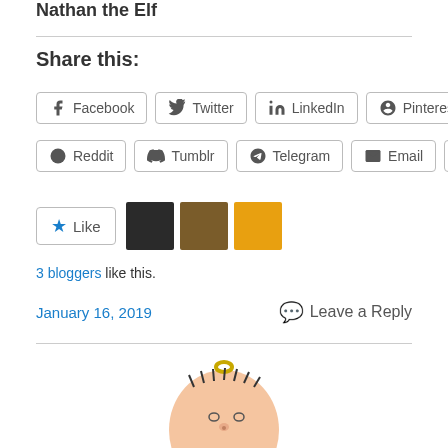Nathan the Elf
Share this:
[Figure (infographic): Social share buttons: Facebook, Twitter, LinkedIn, Pinterest, Reddit, Tumblr, Telegram, Email, Print]
[Figure (infographic): Like button with star icon and three blogger avatars]
3 bloggers like this.
January 16, 2019
Leave a Reply
[Figure (photo): Top of an elf ornament figure with a loop, short dark hair, simple facial features, peach skin]